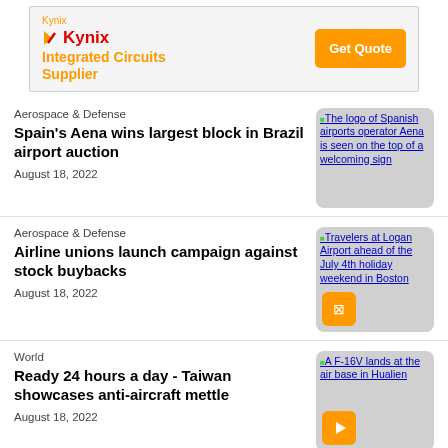[Figure (screenshot): Kynix Integrated Circuits Supplier advertisement banner with orange Get Quote button]
Aerospace & Defense
Spain's Aena wins largest block in Brazil airport auction
August 18, 2022
[Figure (photo): The logo of Spanish airports operator Aena is seen on the top of a welcoming sign]
Aerospace & Defense
Airline unions launch campaign against stock buybacks
August 18, 2022
[Figure (photo): Travelers at Logan Airport ahead of the July 4th holiday weekend in Boston]
World
Ready 24 hours a day - Taiwan showcases anti-aircraft mettle
August 18, 2022
[Figure (photo): A F-16V lands at the air base in Hualien]